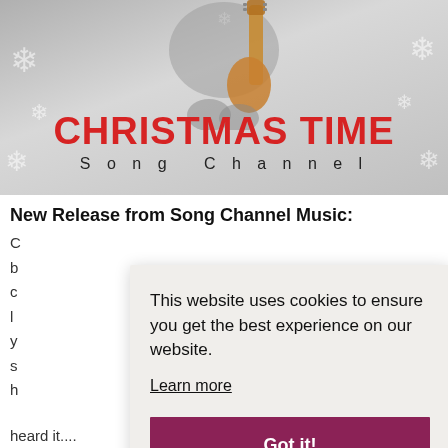[Figure (illustration): Banner image showing a person playing an acoustic guitar, seated, wearing a grey sweater. Background is light grey with white snowflake decorations. Text overlay: 'CHRISTMAS TIME' in large red bold letters, and 'Song Channel' in spaced grey letters below.]
New Release from Song Channel Music:
C
b
c
l
y
s
h
heard it....
This website uses cookies to ensure you get the best experience on our website.
Learn more
Got it!